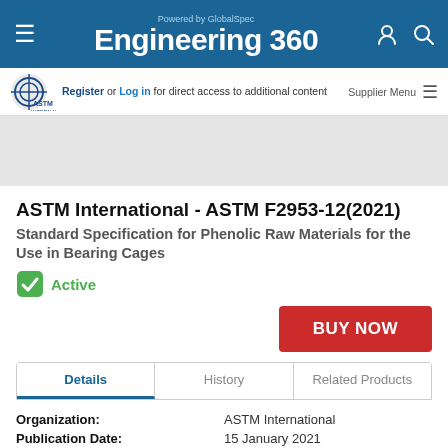Powered by GlobalSpec Engineering 360
Register or Log in for direct access to additional content | Supplier Menu
[Figure (logo): ASTM International logo]
ASTM International - ASTM F2953-12(2021)
Standard Specification for Phenolic Raw Materials for the Use in Bearing Cages
Active
BUY NOW
Details | History | Related Products
Organization: ASTM International
Publication Date: 15 January 2021